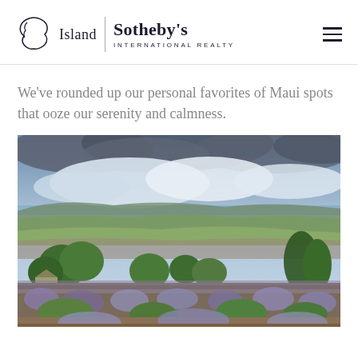Island | Sotheby's International Realty
We've rounded up our personal favorites of Maui spots that ooze our serenity and calmness.
[Figure (photo): Panoramic landscape photograph of a lavender field in Maui with green trees, rolling hills, ocean and mountains in the distance, and a dramatic cloudy sky above.]